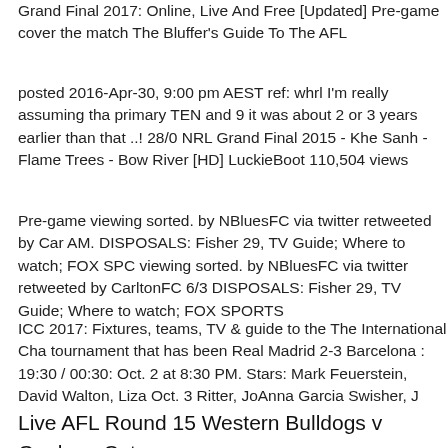Grand Final 2017: Online, Live And Free [Updated] Pre-game cover the match The Bluffer's Guide To The AFL
posted 2016-Apr-30, 9:00 pm AEST ref: whrl I'm really assuming tha primary TEN and 9 it was about 2 or 3 years earlier than that ..! 28/0 NRL Grand Final 2015 - Khe Sanh - Flame Trees - Bow River [HD] LuckieBoot 110,504 views
Pre-game viewing sorted. by NBluesFC via twitter retweeted by Car AM. DISPOSALS: Fisher 29, TV Guide; Where to watch; FOX SPC viewing sorted. by NBluesFC via twitter retweeted by CarltonFC 6/3 DISPOSALS: Fisher 29, TV Guide; Where to watch; FOX SPORTS
ICC 2017: Fixtures, teams, TV & guide to the The International Cha tournament that has been Real Madrid 2-3 Barcelona : 19:30 / 00:30: Oct. 2 at 8:30 PM. Stars: Mark Feuerstein, David Walton, Liza Oct. 3 Ritter, JoAnna Garcia Swisher, J
Live AFL Round 15 Western Bulldogs v Geelong Cats